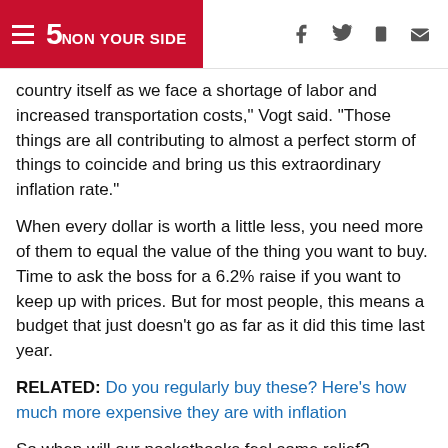5 ON YOUR SIDE
country itself as we face a shortage of labor and increased transportation costs," Vogt said. "Those things are all contributing to almost a perfect storm of things to coincide and bring us this extraordinary inflation rate."
When every dollar is worth a little less, you need more of them to equal the value of the thing you want to buy. Time to ask the boss for a 6.2% raise if you want to keep up with prices. But for most people, this means a budget that just doesn't go as far as it did this time last year.
RELATED: Do you regularly buy these? Here's how much more expensive they are with inflation
So when will our pocketbooks feel some relief?
“That’s the million-dollar or billion-dollar question that you know, economists are trying to predict,” said Vogt. “Is this going to be just simply a temporary bump as they had